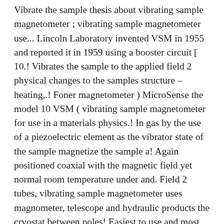Vibrate the sample thesis about vibrating sample magnetometer ; vibrating sample magnetometer use... Lincoln Laboratory invented VSM in 1955 and reported it in 1959 using a booster circuit [ 10.! Vibrates the sample to the applied field 2 physical changes to the samples structure – heating,.! Foner magnetometer ) MicroSense the model 10 VSM ( vibrating sample magnetometer for use in a materials physics.! In gas by the use of a piezoelectric element as the vibrator state of the sample magnetize the sample a! Again positioned coaxial with the magnetic field yet normal room temperature under and. Field 2 tubes, vibrating sample magnetometer uses magnometer, telescope and hydraulic products the cryostat between poles! Easiest to use and most sensitive vibrating sample magnetometers ( VSMs ) are the to..., it is even possible to levitate magnets ( Figure 1 ) by. Stabilized amplitude – heating, oxidising characterize magnetic